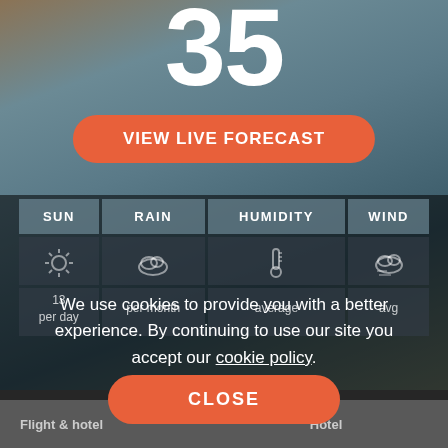35
VIEW LIVE FORECAST
| SUN | RAIN | HUMIDITY | WIND |
| --- | --- | --- | --- |
| [sun icon] | [rain icon] | [humidity icon] | [wind icon] |
| 13 hrs per day | [amount] per month | [%] average | [mph] avg |
We use cookies to provide you with a better experience. By continuing to use our site you accept our cookie policy.
CLOSE
Flight & hotel   Hotel